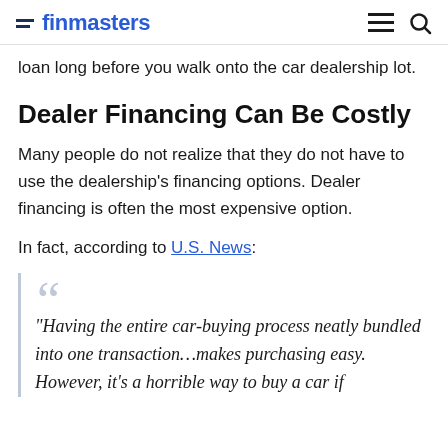finmasters
loan long before you walk onto the car dealership lot.
Dealer Financing Can Be Costly
Many people do not realize that they do not have to use the dealership’s financing options. Dealer financing is often the most expensive option.
In fact, according to U.S. News:
“Having the entire car-buying process neatly bundled into one transaction…makes purchasing easy. However, it’s a horrible way to buy a car if